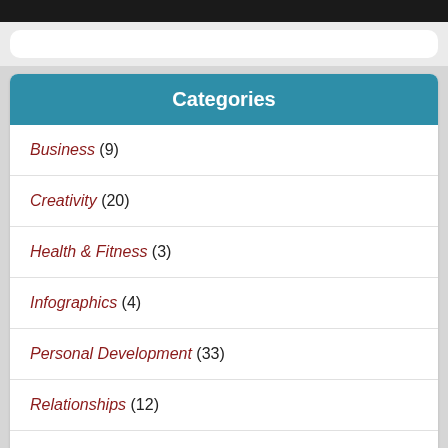Categories
Business (9)
Creativity (20)
Health & Fitness (3)
Infographics (4)
Personal Development (33)
Relationships (12)
Videos (27)
Wise Quotes (15)